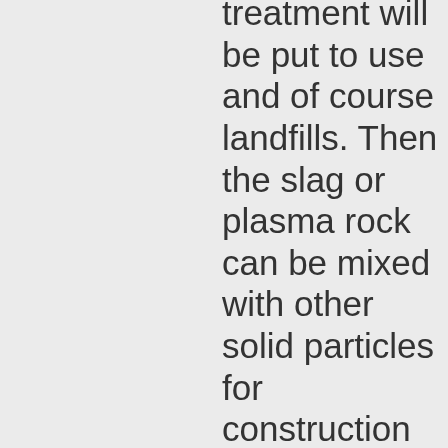treatment will be put to use and of course landfills. Then the slag or plasma rock can be mixed with other solid particles for construction and land reclamation. I can dream, the best things in life are free.